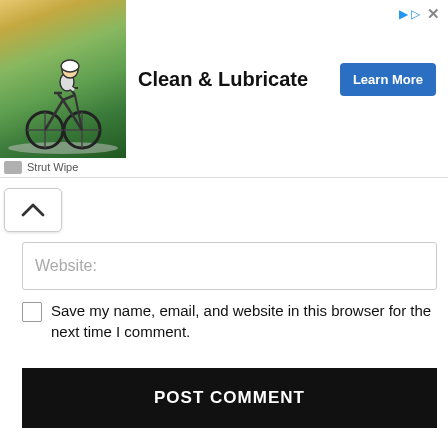[Figure (photo): Advertisement banner showing a cyclist on a road with text 'Clean & Lubricate' and a 'Learn More' button. Branded as Strut Wipe.]
[Figure (other): Scroll-up chevron button]
Website:
Save my name, email, and website in this browser for the next time I comment.
POST COMMENT
Buy the Book Below
[Figure (photo): Partial image of book pages or a book-related photograph in warm brown tones.]